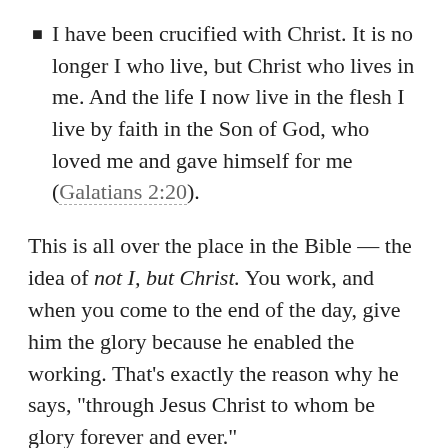I have been crucified with Christ. It is no longer I who live, but Christ who lives in me. And the life I now live in the flesh I live by faith in the Son of God, who loved me and gave himself for me (Galatians 2:20).
This is all over the place in the Bible — the idea of not I, but Christ. You work, and when you come to the end of the day, give him the glory because he enabled the working. That's exactly the reason why he says, “through Jesus Christ to whom be glory forever and ever.”
The reason God is working in you, enabling you to do his will in missions, finish well, and fight the fight of faith that I talked about through Jesus is...